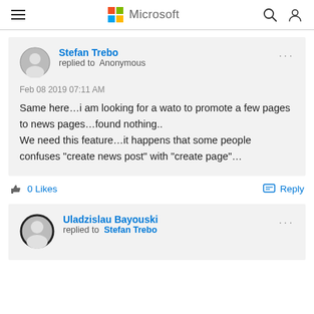Microsoft
Stefan Trebo replied to Anonymous
Feb 08 2019 07:11 AM
Same here…i am looking for a wato to promote a few pages to news pages…found nothing..
We need this feature…it happens that some people confuses "create news post" with "create page"…
0 Likes   Reply
Uladzislau Bayouski replied to Stefan Trebo